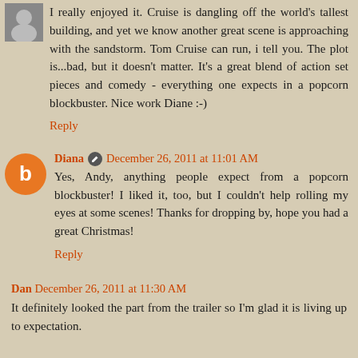I really enjoyed it. Cruise is dangling off the world's tallest building, and yet we know another great scene is approaching with the sandstorm. Tom Cruise can run, i tell you. The plot is...bad, but it doesn't matter. It's a great blend of action set pieces and comedy - everything one expects in a popcorn blockbuster. Nice work Diane :-)
Reply
Diana  December 26, 2011 at 11:01 AM
Yes, Andy, anything people expect from a popcorn blockbuster! I liked it, too, but I couldn't help rolling my eyes at some scenes! Thanks for dropping by, hope you had a great Christmas!
Reply
Dan December 26, 2011 at 11:30 AM
It definitely looked the part from the trailer so I'm glad it is living up to expectation.